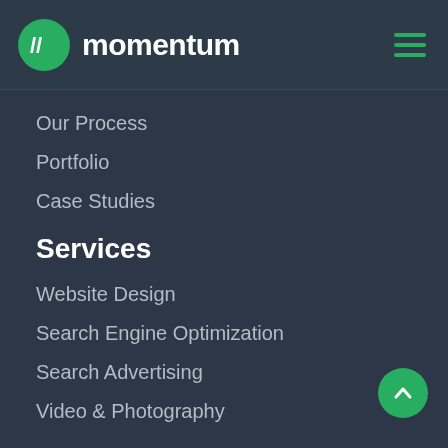momentum
Our Process
Portfolio
Case Studies
Services
Website Design
Search Engine Optimization
Search Advertising
Video & Photography
Company
About Us
Our Team